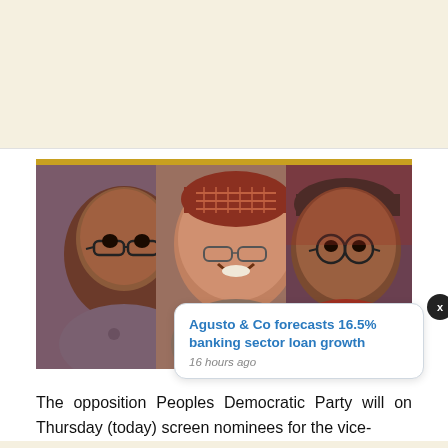[Figure (photo): Three Nigerian politicians side by side: a man with glasses on the left, an older man with a traditional embroidered cap in the center smiling, and a man with a dark cap on the right.]
Agusto & Co forecasts 16.5% banking sector loan growth
16 hours ago
The opposition Peoples Democratic Party will on Thursday (today) screen nominees for the vice-